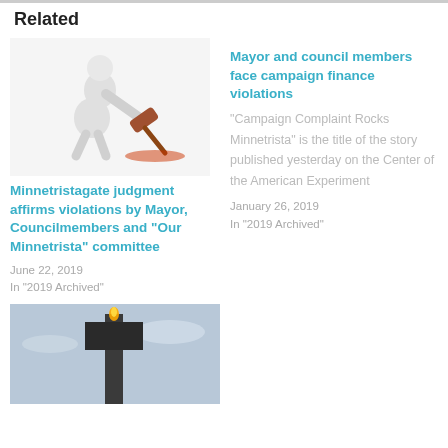Related
[Figure (photo): White figure holding a gavel/hammer, swinging it down]
Minnetristagate judgment affirms violations by Mayor, Councilmembers and “Our Minnetrista” committee
June 22, 2019
In "2019 Archived"
Mayor and council members face campaign finance violations
"Campaign Complaint Rocks Minnetrista" is the title of the story published yesterday on the Center of the American Experiment
January 26, 2019
In "2019 Archived"
[Figure (photo): Dark metal structure or sign post against a blue sky with light clouds]